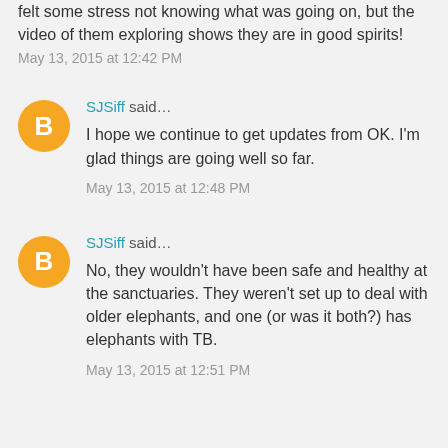felt some stress not knowing what was going on, but the video of them exploring shows they are in good spirits!
May 13, 2015 at 12:42 PM
SJSiff said…
I hope we continue to get updates from OK. I'm glad things are going well so far.
May 13, 2015 at 12:48 PM
SJSiff said…
No, they wouldn't have been safe and healthy at the sanctuaries. They weren't set up to deal with older elephants, and one (or was it both?) has elephants with TB.
May 13, 2015 at 12:51 PM